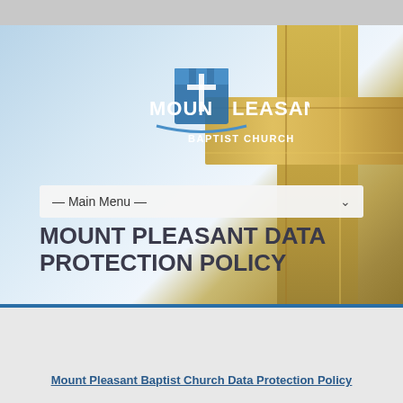[Figure (screenshot): Hero banner image with sky and wooden cross background for Mount Pleasant Baptist Church website]
MOUNT PLEASANT DATA PROTECTION POLICY
Mount Pleasant Baptist Church Data Protection Policy